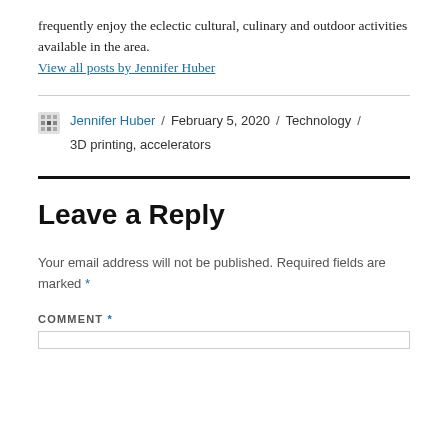frequently enjoy the eclectic cultural, culinary and outdoor activities available in the area.
View all posts by Jennifer Huber
Jennifer Huber / February 5, 2020 / Technology / 3D printing, accelerators
Leave a Reply
Your email address will not be published. Required fields are marked *
COMMENT *